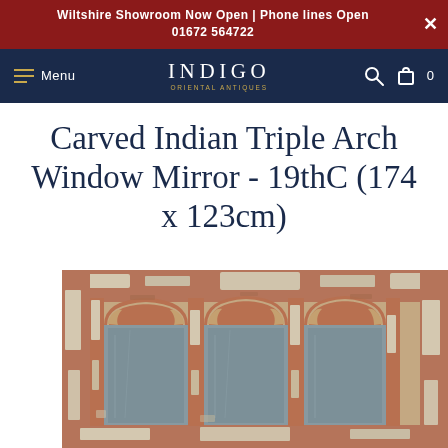Wiltshire Showroom Now Open | Phone lines Open 01672 564722
INDIGO ORIENTAL ANTIQUES — Menu, Search, Cart
Carved Indian Triple Arch Window Mirror - 19thC (174 x 123cm)
[Figure (photo): A carved Indian triple arch window mirror with distressed painted wood frame showing chipped paint in cream and terracotta, featuring three ornate Mughal-style arches with mirrors, and decorative columns between arches.]